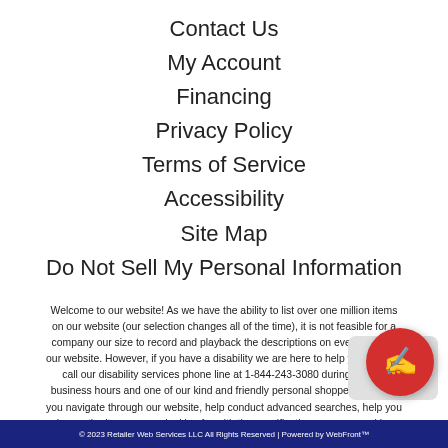Contact Us
My Account
Financing
Privacy Policy
Terms of Service
Accessibility
Site Map
Do Not Sell My Personal Information
Welcome to our website! As we have the ability to list over one million items on our website (our selection changes all of the time), it is not feasible for a company our size to record and playback the descriptions on every item on our website. However, if you have a disability we are here to help you. Please call our disability services phone line at 1-844-243-3080 during regular business hours and one of our kind and friendly personal shoppers will help you navigate through our website, help conduct advanced searches, help you choose the item you are looking for with the specifications you are seeking, read you the specifications of any item and consult with you about the products themselves. There is no charge for the help of this personal shopper for anyone with a disability. Finally, your personal shopper will explain our Privacy Policy and Terms of Service, and help you place an order if you so desire.
© 2023 Retailer Web Services LLC All Rights Reserved | Powered by WebFront™